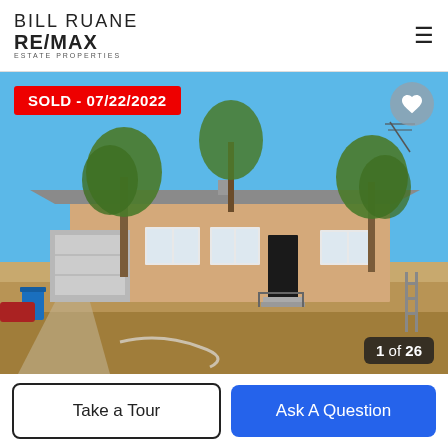BILL RUANE RE/MAX ESTATE PROPERTIES
[Figure (photo): Exterior photo of a single-story ranch-style house with brown/tan stucco walls, gray roof, multiple windows, a front door with small steps, several trees in the front yard, dry brown lawn, and a two-car garage visible on the left. Blue sky background. Red 'SOLD - 07/22/2022' badge in top left. Image counter '1 of 26' in bottom right.]
Take a Tour
Ask A Question